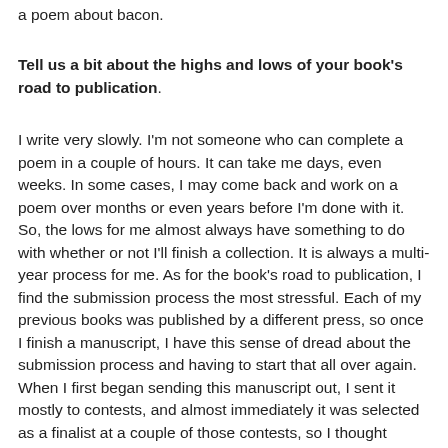a poem about bacon.
Tell us a bit about the highs and lows of your book's road to publication.
I write very slowly. I'm not someone who can complete a poem in a couple of hours. It can take me days, even weeks. In some cases, I may come back and work on a poem over months or even years before I'm done with it. So, the lows for me almost always have something to do with whether or not I'll finish a collection. It is always a multi-year process for me. As for the book's road to publication, I find the submission process the most stressful. Each of my previous books was published by a different press, so once I finish a manuscript, I have this sense of dread about the submission process and having to start that all over again. When I first began sending this manuscript out, I sent it mostly to contests, and almost immediately it was selected as a finalist at a couple of those contests, so I thought